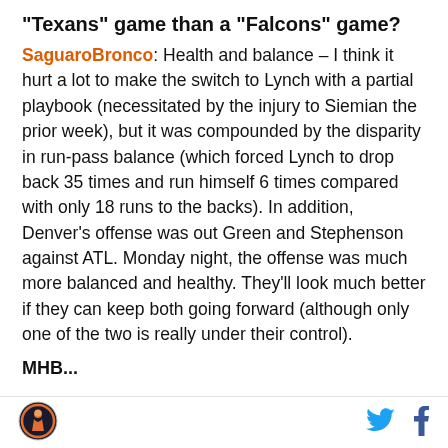"Texans" game than a "Falcons" game?
SaguaroBronco: Health and balance – I think it hurt a lot to make the switch to Lynch with a partial playbook (necessitated by the injury to Siemian the prior week), but it was compounded by the disparity in run-pass balance (which forced Lynch to drop back 35 times and run himself 6 times compared with only 18 runs to the backs). In addition, Denver's offense was out Green and Stephenson against ATL. Monday night, the offense was much more balanced and healthy. They'll look much better if they can keep both going forward (although only one of the two is really under their control).
MHB...
[Figure (logo): Sports website logo — circular badge with an athlete figure, orange and dark blue colors]
[Figure (logo): Twitter bird icon in light blue]
[Figure (logo): Facebook f icon in dark blue]